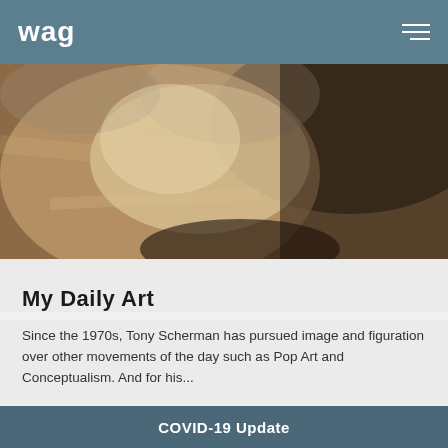wag
[Figure (photo): Close-up abstract painting showing textured brushwork with warm brown, cream, and dark grey tones — appears to be a detail of a figurative encaustic or oil painting by Tony Scherman]
APR 28 '20
My Daily Art
Since the 1970s, Tony Scherman has pursued image and figuration over other movements of the day such as Pop Art and Conceptualism. And for his...
[Figure (photo): Dark interior museum shot showing a bronze sculptural figure of a leaping animal (horse or deer) on a plinth]
COVID-19 Update